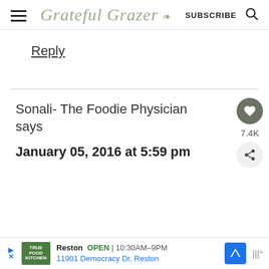Grateful Grazer — SUBSCRIBE
Reply
Sonali- The Foodie Physician says
January 05, 2016 at 5:59 pm
Reston OPEN | 10:30AM–9PM 11901 Democracy Dr, Reston